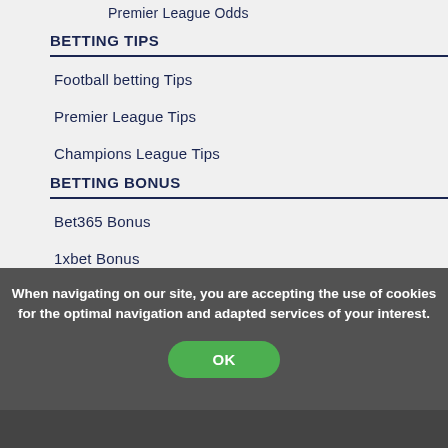Premier League Odds
BETTING TIPS
Football betting Tips
Premier League Tips
Champions League Tips
BETTING BONUS
Bet365 Bonus
1xbet Bonus
When navigating on our site, you are accepting the use of cookies for the optimal navigation and adapted services of your interest.